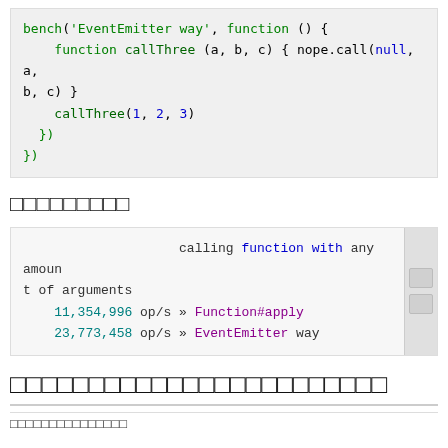bench('EventEmitter way', function () {
    function callThree (a, b, c) { nope.call(null, a, b, c) }
    callThree(1, 2, 3)
  })
})
□□□□□□□□□
calling function with any amount of arguments
  11,354,996 op/s » Function#apply
  23,773,458 op/s » EventEmitter way
□□□□□□□□□□□□□□□□□□□□□□□□
□□□□□□□□□□□□□□□